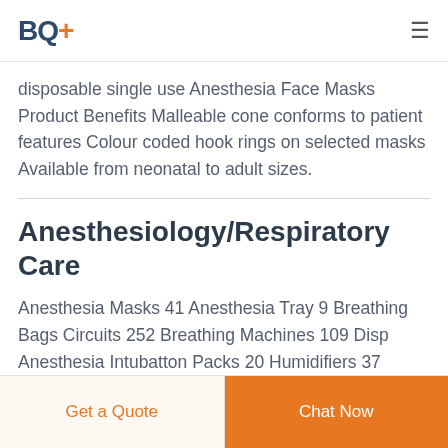BQ+
disposable single use Anesthesia Face Masks Product Benefits Malleable cone conforms to patient features Colour coded hook rings on selected masks Available from neonatal to adult sizes.
Anesthesiology/Respiratory Care
Anesthesia Masks 41 Anesthesia Tray 9 Breathing Bags Circuits 252 Breathing Machines 109 Disp Anesthesia Intubatton Packs 20 Humidifiers 37 Nasal Cannulas/Oxygen Cannula 82 Nebulizers 450 Oxygen Concentrators 245 Oxygen Delivery 13 Oxygen Masks 353
Get a Quote | Chat Now